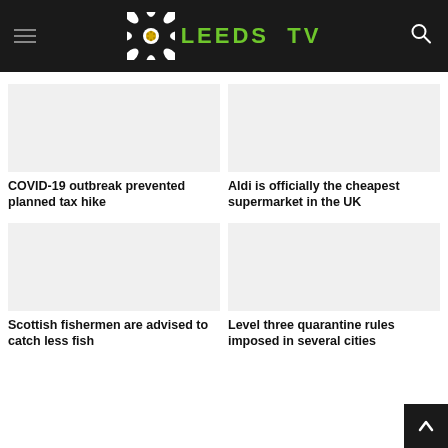LEEDS TV
[Figure (photo): Placeholder image for COVID-19 tax hike article]
COVID-19 outbreak prevented planned tax hike
[Figure (photo): Placeholder image for Aldi supermarket article]
Aldi is officially the cheapest supermarket in the UK
[Figure (photo): Placeholder image for Scottish fishermen article]
Scottish fishermen are advised to catch less fish
[Figure (photo): Placeholder image for quarantine rules article]
Level three quarantine rules imposed in several cities